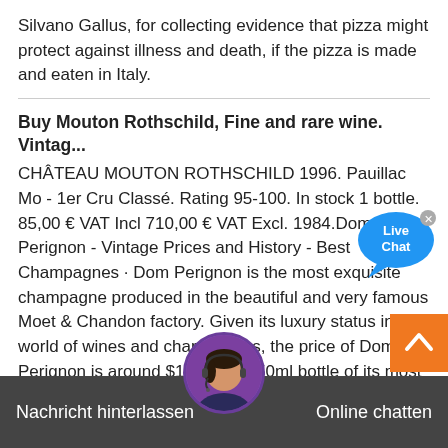Silvano Gallus, for collecting evidence that pizza might protect against illness and death, if the pizza is made and eaten in Italy.
Buy Mouton Rothschild, Fine and rare wine. Vintag...
CHÂTEAU MOUTON ROTHSCHILD 1996. Pauillac Mo - 1er Cru Classé. Rating 95-100. In stock 1 bottle. 85,00 € VAT Incl 710,00 € VAT Excl. 1984.Dom Perignon - Vintage Prices and History - Best Champagnes · Dom Perignon is the most exquisite champagne produced in the beautiful and very famous Moet & Chandon factory. Given its luxury status in the world of wines and champagnes, the price of Dom Perignon is around $140 for a 750ml bottle of its most vintage (2009). ...
[Figure (illustration): Live Chat speech bubble with text 'Live Chat' in blue and white]
[Figure (illustration): Orange back-to-top button with up chevron]
[Figure (illustration): Customer service avatar - woman with headset in circular frame with purple border]
Nachricht hinterlassen    Online chatten